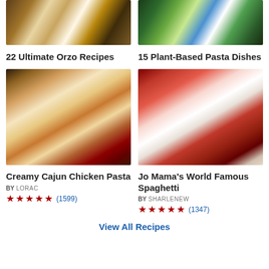[Figure (photo): Overhead view of orzo pasta dishes on a wooden table]
[Figure (photo): Overhead view of plant-based pasta dishes with broccoli and pesto]
22 Ultimate Orzo Recipes
15 Plant-Based Pasta Dishes
[Figure (photo): Creamy Cajun Chicken Pasta in an oval dish on a wooden table with lemon and condiments]
[Figure (photo): Jo Mama's World Famous Spaghetti with meat sauce and basil on a white plate]
Creamy Cajun Chicken Pasta
BY LORAC
★★★★★ (1599)
Jo Mama's World Famous Spaghetti
BY SHARLENEW
★★★★★ (1347)
View All Recipes